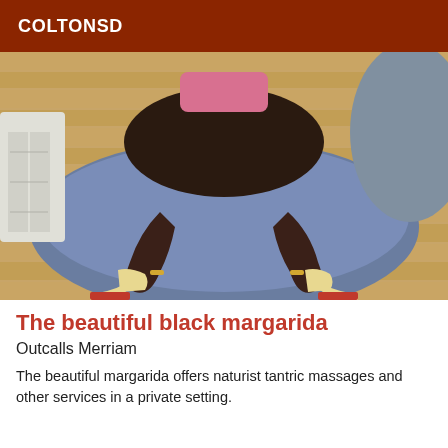COLTONSD
[Figure (photo): A photograph showing a person kneeling on a blue cushion/mattress on a wooden floor, wearing red-soled high heels. View is from above/behind.]
The beautiful black margarida
Outcalls Merriam
The beautiful margarida offers naturist tantric massages and other services in a private setting.